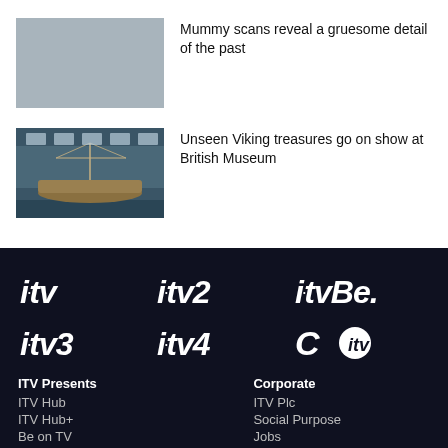[Figure (photo): Grey placeholder thumbnail image for mummy scans article]
Mummy scans reveal a gruesome detail of the past
[Figure (photo): Photo of Viking ships on display inside a museum, likely the Viking Ship Museum]
Unseen Viking treasures go on show at British Museum
[Figure (logo): ITV channel logos: itv, itv2, itvBe., itv3, itv4, Citv on dark background]
ITV Presents
ITV Hub
ITV Hub+
Be on TV
Corporate
ITV Plc
Social Purpose
Jobs